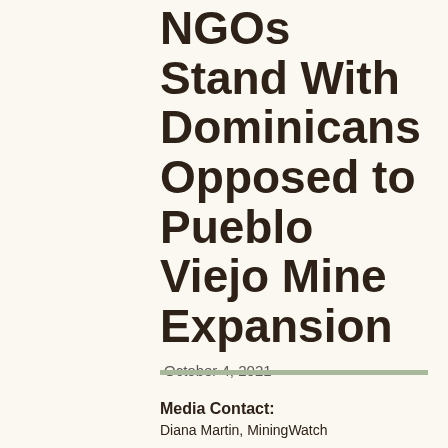NGOs Stand With Dominicans Opposed to Pueblo Viejo Mine Expansion
October 4, 2021
Media Contact:
Diana Martin, MiningWatch